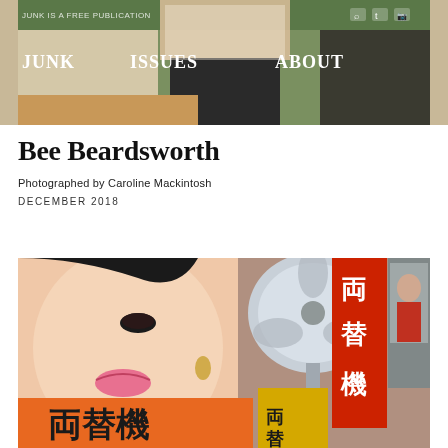[Figure (photo): Top banner photo showing a woman in a sheer white top and dark skirt standing outdoors, with navigation overlay showing JUNK, ISSUES, ABOUT links and icons]
JUNK IS A FREE PUBLICATION
Bee Beardsworth
Photographed by Caroline Mackintosh
DECEMBER 2018
[Figure (photo): Photo of a young woman's face close up with pink lips, next to a white electric fan, red Chinese signage with characters, orange signage at bottom with Chinese characters, and a yellow sign on the right]